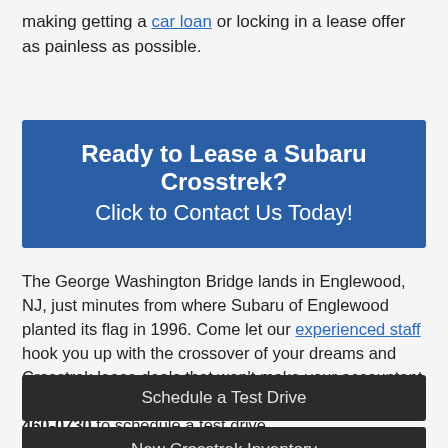making getting a car loan or locking in a lease offer as painless as possible.
Ready to Lease a Subaru Crosstrek? Click to Contact Us Today!
The George Washington Bridge lands in Englewood, NJ, just minutes from where Subaru of Englewood planted its flag in 1996. Come let our experienced staff hook you up with the crossover of your dreams and Crosstrek lease deals that won't make your accountant cross. Contact us to get started today by calling (877) 460-0730 to schedule a test drive.
Schedule a Test Drive
New Crosstrek Inventory